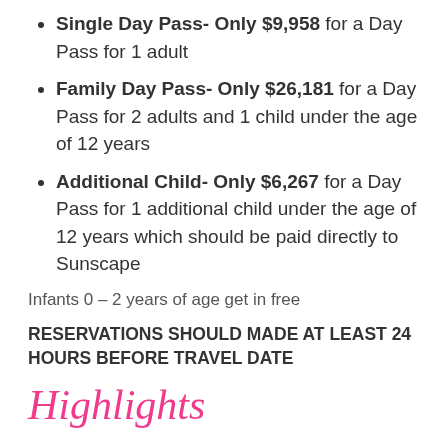Single Day Pass- Only $9,958 for a Day Pass for 1 adult
Family Day Pass- Only $26,181 for a Day Pass for 2 adults and 1 child under the age of 12 years
Additional Child- Only $6,267 for a Day Pass for 1 additional child under the age of 12 years which should be paid directly to Sunscape
Infants 0 – 2 years of age get in free
RESERVATIONS SHOULD MADE AT LEAST 24 HOURS BEFORE TRAVEL DATE
Highlights